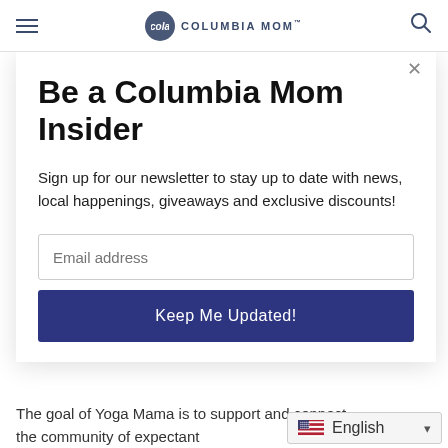Columbia Mom
Be a Columbia Mom Insider
Sign up for our newsletter to stay up to date with news, local happenings, giveaways and exclusive discounts!
Email address
Keep Me Updated!
The goal of Yoga Mama is to support and connect the community of expectant